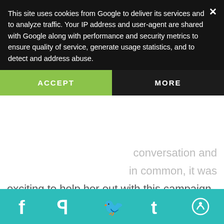This site uses cookies from Google to deliver its services and to analyze traffic. Your IP address and user-agent are shared with Google along with performance and security metrics to ensure quality of service, generate usage statistics, and to detect and address abuse.
ACCEPT
MORE
conversation and in common, it was exciting to help her out with this campaign.
To keep up with the latest  shoe designs , follow Laura Britt Shoes on Facebook and Instagram. Thanks lovely friends for stopping by, I hope your week is filled with amazing things!
[Figure (other): Social sharing bar with icons for Facebook, Pinterest, Twitter, Tumblr, and another social network on a teal background]